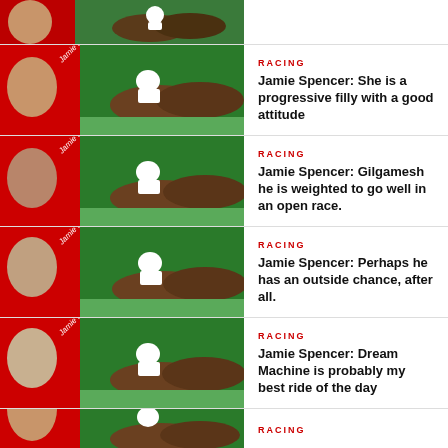[Figure (photo): Partial thumbnail of Jamie Spencer racing article at top (cropped row)]
[Figure (photo): Thumbnail of Jamie Spencer jockey in red with horses racing on green track]
RACING
Jamie Spencer: She is a progressive filly with a good attitude
[Figure (photo): Thumbnail of Jamie Spencer jockey in red with horses racing on green track]
RACING
Jamie Spencer: Gilgamesh he is weighted to go well in an open race.
[Figure (photo): Thumbnail of Jamie Spencer jockey in red with horses racing on green track]
RACING
Jamie Spencer: Perhaps he has an outside chance, after all.
[Figure (photo): Thumbnail of Jamie Spencer jockey in red with horses racing on green track]
RACING
Jamie Spencer: Dream Machine is probably my best ride of the day
[Figure (photo): Partial thumbnail of Jamie Spencer racing article at bottom (cropped row)]
RACING